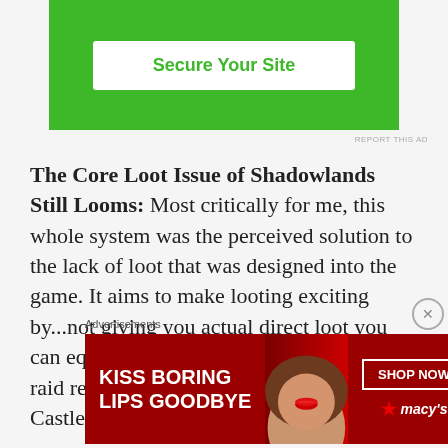[Figure (other): Green advertisement banner with white 'Secure Your Site' button]
REPORT THIS AD
The Core Loot Issue of Shadowlands Still Looms: Most critically for me, this whole system was the perceived solution to the lack of loot that was designed into the game. It aims to make looting exciting by…not giving you actual direct loot you can equip straight away. Loot drops in the raid remain as anemic as the tail end of Castle Nathria.
Advertisements
[Figure (other): Macy's advertisement: 'KISS BORING LIPS GOODBYE' with woman's face and red lips, SHOP NOW button and Macy's logo]